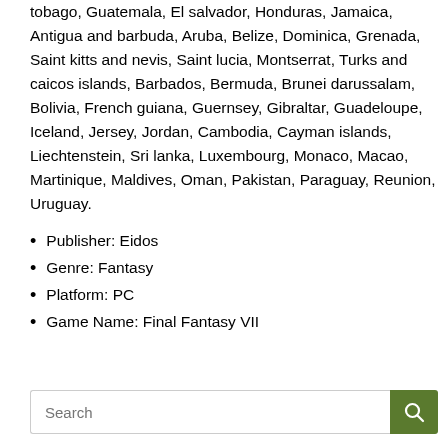tobago, Guatemala, El salvador, Honduras, Jamaica, Antigua and barbuda, Aruba, Belize, Dominica, Grenada, Saint kitts and nevis, Saint lucia, Montserrat, Turks and caicos islands, Barbados, Bermuda, Brunei darussalam, Bolivia, French guiana, Guernsey, Gibraltar, Guadeloupe, Iceland, Jersey, Jordan, Cambodia, Cayman islands, Liechtenstein, Sri lanka, Luxembourg, Monaco, Macao, Martinique, Maldives, Oman, Pakistan, Paraguay, Reunion, Uruguay.
Publisher: Eidos
Genre: Fantasy
Platform: PC
Game Name: Final Fantasy VII